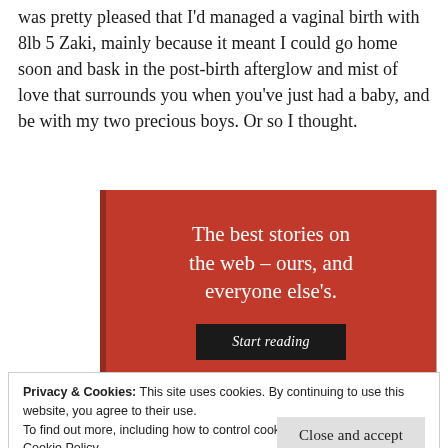was pretty pleased that I'd managed a vaginal birth with 8lb 5 Zaki, mainly because it meant I could go home soon and bask in the post-birth afterglow and mist of love that surrounds you when you've just had a baby, and be with my two precious boys. Or so I thought.
[Figure (other): Red advertisement banner with white serif text reading 'The best stories on the web – ours, and everyone else's.' and a black 'Start reading' button]
Privacy & Cookies: This site uses cookies. By continuing to use this website, you agree to their use.
To find out more, including how to control cookies, see here:
Cookie Policy
Close and accept